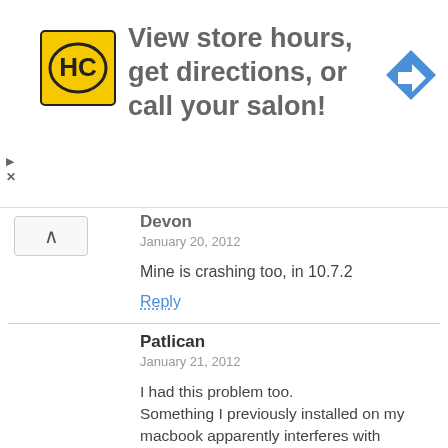[Figure (screenshot): Advertisement banner: HC salon logo (yellow square with HC letters), text 'View store hours, get directions, or call your salon!', blue diamond navigation arrow icon]
Devon
January 20, 2012

Mine is crashing too, in 10.7.2

Reply
Patlican
January 21, 2012

I had this problem too.
Something I previously installed on my macbook apparently interferes with absinthe and made it crash as soon as i connected the iPad.
I then tried it on my spouses iMac and had no issues at all.
If you don't have access to another mac you could use a freshly installed OS.

If you go to friend / neighbour remember the iPhone/iPad has to have wifi internet access to complete the process.